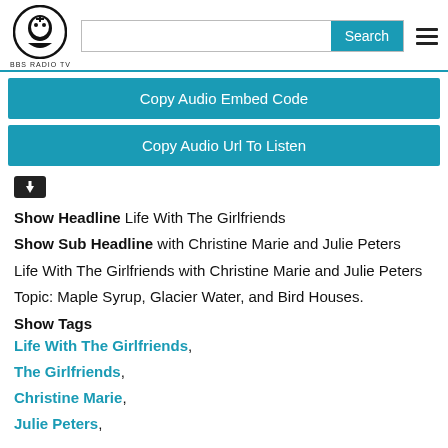BBS RADIO TV | Search
Copy Audio Embed Code
Copy Audio Url To Listen
Show Headline Life With The Girlfriends
Show Sub Headline with Christine Marie and Julie Peters
Life With The Girlfriends with Christine Marie and Julie Peters
Topic: Maple Syrup, Glacier Water, and Bird Houses.
Show Tags
Life With The Girlfriends,
The Girlfriends,
Christine Marie,
Julie Peters,